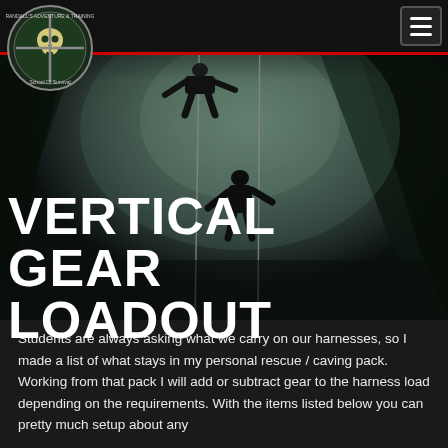[Figure (photo): Dark cave rappelling scene with two silhouetted figures descending on ropes inside a large cavern with dramatic lighting]
VERTICAL GEAR LOADOUT
Students are always asking what we carry on our harnesses, so I made a list of what stays in my personal rescue / caving pack. Working from that pack I will add or subtract gear to the harness load depending on the requirements. With the items listed below you can pretty much setup about any